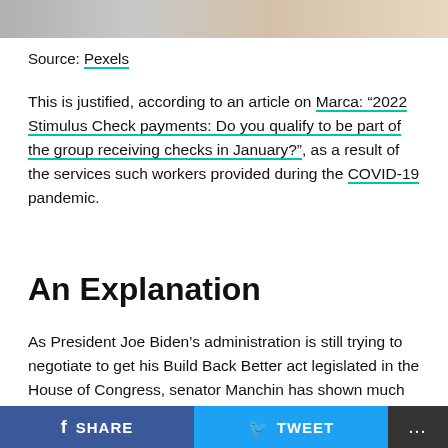[Figure (photo): Partial photo strip at the top of the page showing people, cropped.]
Source: Pexels
This is justified, according to an article on Marca: “2022 Stimulus Check payments: Do you qualify to be part of the group receiving checks in January?”, as a result of the services such workers provided during the COVID-19 pandemic.
An Explanation
As President Joe Biden’s administration is still trying to negotiate to get his Build Back Better act legislated in the House of Congress, senator Manchin has shown much reluctance to give his needed approval of the proposed bill or act. This comes as Manchin has some criticism of the cost of the bill and that he is …
SHARE   TWEET   ...